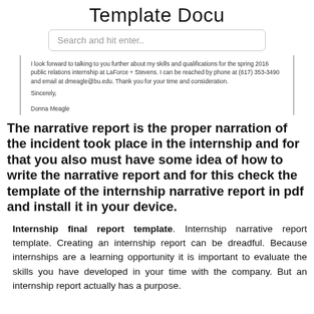Template Docu
Search and hit enter..
I look forward to talking to you further about my skills and qualifications for the spring 2016 public relations internship at LaForce + Stevens. I can be reached by phone at (617) 353-3490 and email at dmeagle@bu.edu. Thank you for your time and consideration.

Sincerely,

Donna Meagle
The narrative report is the proper narration of the incident took place in the internship and for that you also must have some idea of how to write the narrative report and for this check the template of the internship narrative report in pdf and install it in your device.
Internship final report template. Internship narrative report template. Creating an internship report can be dreadful. Because internships are a learning opportunity it is important to evaluate the skills you have developed in your time with the company. But an internship report actually has a purpose.